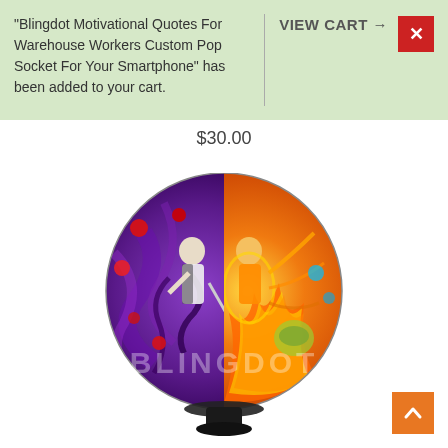"Blingdot Motivational Quotes For Warehouse Workers Custom Pop Socket For Your Smartphone" has been added to your cart.
VIEW CART →
$30.00
[Figure (photo): A custom pop socket featuring an anime design split down the middle: left half shows a purple-themed character (Sasuke) with dark swirling energy and red orbs, right half shows an orange/yellow-themed character (Naruto) surrounded by fire and golden energy. The pop socket has a black base/stand. A semi-transparent 'BLINGDOT' watermark overlays the image.]